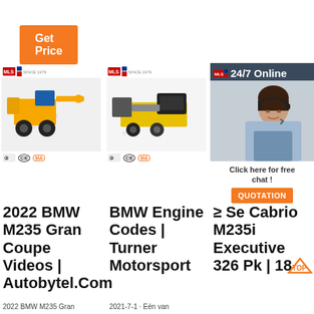Get Price
[Figure (photo): Orange construction/concrete pump machine with wheels, MLS Since 1979 logo, CE and MA certifications]
[Figure (photo): Yellow mortar/plastering machine on wheels, MLS Since 1979 logo, CE and MA certifications]
[Figure (photo): Partially visible machine with 24/7 Online customer service chat overlay showing woman with headset and QUOTATION button]
2022 BMW M235 Gran Coupe Videos | Autobytel.Com
BMW Engine Codes | Turner Motorsport
≥ Se Cabrio M235i Executive 326 Pk | 18
2022 BMW M235 Gran
2021-7-1 · Eén van
Click here for free chat !
QUOTATION